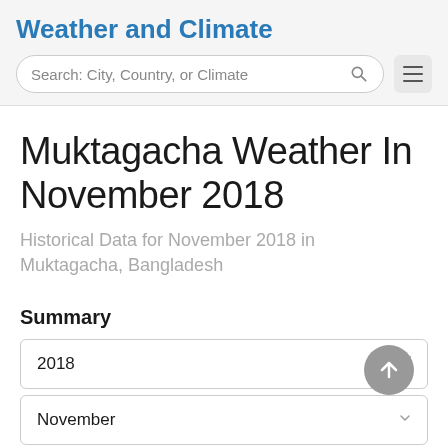Weather and Climate
Search: City, Country, or Climate
Muktagacha Weather In November 2018
Historical Data for November 2018 in Muktagacha, Bangladesh
Summary
2018
November